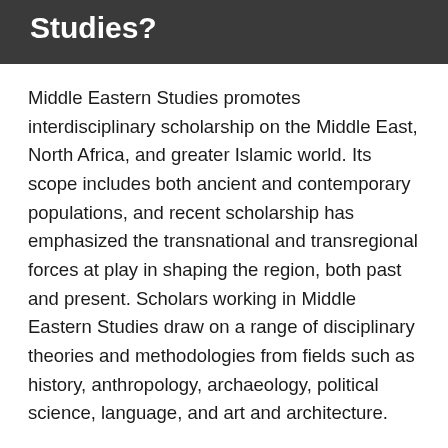Studies?
Middle Eastern Studies promotes interdisciplinary scholarship on the Middle East, North Africa, and greater Islamic world. Its scope includes both ancient and contemporary populations, and recent scholarship has emphasized the transnational and transregional forces at play in shaping the region, both past and present. Scholars working in Middle Eastern Studies draw on a range of disciplinary theories and methodologies from fields such as history, anthropology, archaeology, political science, language, and art and architecture.